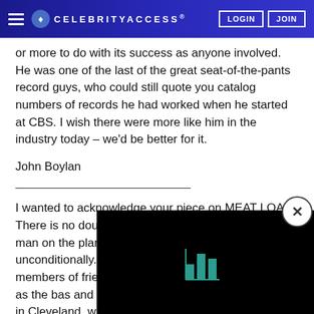CELEBRITYACCESS. LOGIN JOIN
or more to do with its success as anyone involved. He was one of the last of the great seat-of-the-pants record guys, who could still quote you catalog numbers of records he had worked when he started at CBS. I wish there were more like him in the industry today – we'd be better for it.
John Boylan
I wanted to acknowledge your piece on MEAT LOAF.  There is no doubt that Steve Popovich was the one man on the planet who believed in Meat unconditionally.  My relationship with Pop goes bac members of friendly "competin in the mid-1960s, he as the bas and me as drummer in The Sta was tight in Cleveland, with onl
[Figure (screenshot): Black overlay panel with a teal/green bar chart icon, and a circular close button with X in top right corner]